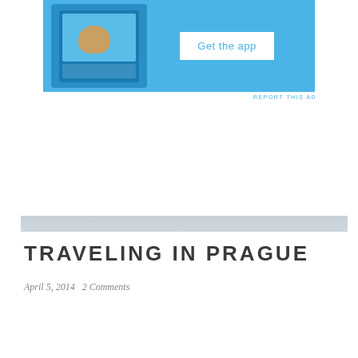[Figure (screenshot): Mobile app advertisement banner with blue background showing a smartphone screenshot and a 'Get the app' button]
REPORT THIS AD
[Figure (photo): Panoramic view of Prague cityscape with red-tiled rooftops, church domes, and overcast sky]
TRAVELING IN PRAGUE
April 5, 2014   2 Comments
[Figure (photo): Dark interior photo showing a lit window with warm light, partially visible building entrance or archway]